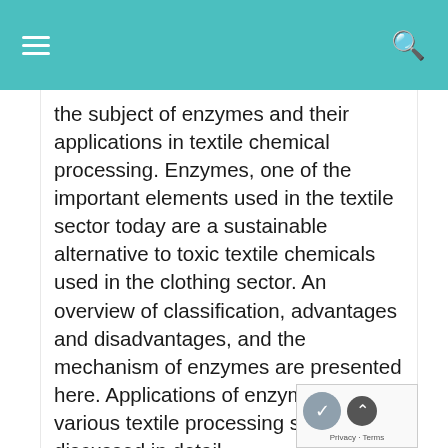≡  [search icon]
the subject of enzymes and their applications in textile chemical processing. Enzymes, one of the important elements used in the textile sector today are a sustainable alternative to toxic textile chemicals used in the clothing sector. An overview of classification, advantages and disadvantages, and the mechanism of enzymes are presented here. Applications of enzymes in various textile processing steps are discussed in detail.
''Regenerated Cellulosic Fibers and Their Implications on Sustainability'' deals with